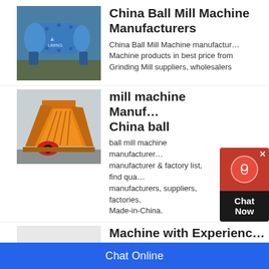[Figure (photo): Blue cylindrical ball mill machine with Liming branding, shown outdoors]
China Ball Mill Machine Manufacturers
China Ball Mill Machine manufacturers - Machine products in best price from Grinding Mill suppliers, wholesalers
[Figure (photo): Yellow/orange impact crusher machine in industrial warehouse]
mill machine Manufacturers China ball
ball mill machine manufacturers - manufacturer & factory list, find qualified manufacturers, suppliers, factories, Made-in-China.
[Figure (photo): Small grey mining/milling equipment on white background with Liming branding]
Machine with Experience China
Ball Mill, Ball Mill Machine, Ball Mill
[Figure (other): Live chat widget popup with red icon and black Now button]
Chat Online